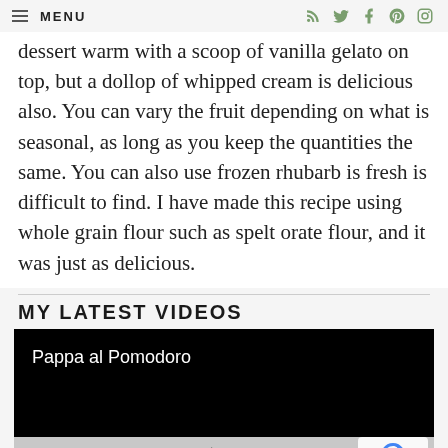MENU
dessert warm with a scoop of vanilla gelato on top, but a dollop of whipped cream is delicious also. You can vary the fruit depending on what is seasonal, as long as you keep the quantities the same. You can also use frozen rhubarb is fresh is difficult to find. I have made this recipe using whole grain flour such as spelt orate flour, and it was just as delicious.
MY LATEST VIDEOS
[Figure (screenshot): Video thumbnail with black background showing title 'Pappa al Pomodoro' and a play button on grey control bar below]